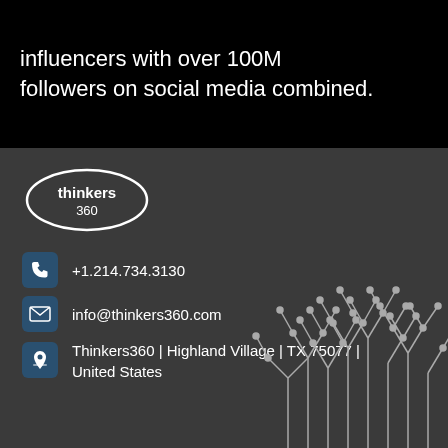influencers with over 100M followers on social media combined.
[Figure (logo): Thinkers 360 logo — white oval outline with text 'thinkers 360' inside on dark background]
+1.214.734.3130
info@thinkers360.com
Thinkers360 | Highland Village | TX 75077 | United States
[Figure (illustration): Circuit board tree illustration — white lines and dots forming a tree-like circuit pattern on dark background]